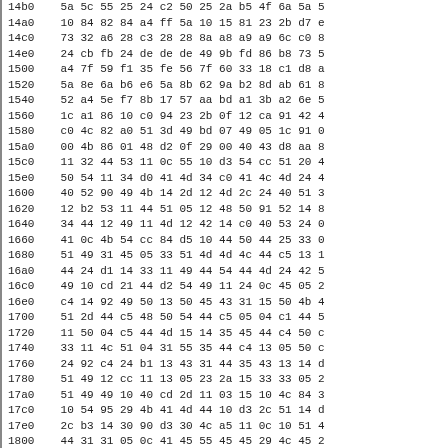| 14b0 | 5a 5c 55 25 24 c2 50 25 2a b5 4f 6a 5a 5 |
| 14a0 | 10 84 82 84 a4 ff 5a 10 15 81 23 2b d7 e |
| 14c0 | 73 32 a6 28 c3 28 28 8a a8 a9 a9 6c c0 8 |
| 14e0 | 24 cb fb 24 de de de 49 9b fd 86 b8 73 5 |
| 1500 | a4 7f 59 f1 35 fe 56 7f 60 33 18 c1 d8 a |
| 1520 | 5a 8e 6a b6 e6 5a 8b 62 9a b2 8d ab 61 8 |
| 1540 | 52 a4 5e f7 8b 17 57 aa bd a1 3b a2 6e 5 |
| 1560 | 1c a1 86 10 c0 94 23 2b 0f 12 ca 91 42 4 |
| 1580 | c0 4c 82 a0 51 3d 49 bd 07 49 05 1c 91 0 |
| 15a0 | 00 4b 86 01 48 d2 0f 29 00 40 43 d8 aa 8 |
| 15c0 | 11 32 44 53 11 0c 55 10 d3 54 cc 51 20 4 |
| 15e0 | 50 54 11 34 d0 41 4d 34 c0 41 4c 4d 24 4 |
| 1600 | 40 52 90 49 4b 14 2d 12 4d 2c 24 40 51 3 |
| 1620 | 12 b2 53 11 44 51 05 12 48 50 91 52 14 8 |
| 1640 | 34 44 12 49 11 4d 12 42 14 c0 40 53 24 0 |
| 1660 | 41 0c 4b 54 cc 84 d5 10 44 50 44 25 33 0 |
| 1680 | 51 49 31 45 05 33 51 4d 4d 4c 44 c5 13 1 |
| 16a0 | 44 24 d1 14 33 11 49 44 54 44 4d 24 42 5 |
| 16c0 | 49 10 cd 21 44 d2 54 49 11 24 0c 45 05 2 |
| 16e0 | c4 14 92 49 50 13 50 45 43 31 15 50 4b 4 |
| 1700 | 51 2d 44 c5 48 50 54 44 c5 05 04 c1 44 5 |
| 1720 | 11 50 04 c5 44 4d 15 14 35 45 44 c4 50 c |
| 1740 | 33 11 4c 51 04 31 55 35 44 c4 13 05 50 c |
| 1760 | 24 92 c4 24 b1 13 43 31 44 35 43 13 14 d |
| 1780 | 51 49 12 cc 11 13 05 23 2a 15 33 33 05 2 |
| 17a0 | 51 49 49 10 40 cd 2d 11 03 15 10 4c 84 3 |
| 17c0 | 10 54 95 29 4b 41 4d 44 10 d3 2c 51 14 d |
| 17e0 | 2c b3 14 30 90 d3 30 4c a5 11 0c 10 51 4 |
| 1800 | 44 31 31 05 0c 41 45 55 45 45 29 4c 45 2 |
| 1820 | 30 54 c9 54 52 51 14 52 92 c8 52 d0 cd 4 |
| 1840 | 14 15 12 12 11 52 51 44 9a 49 54 4c 00  |